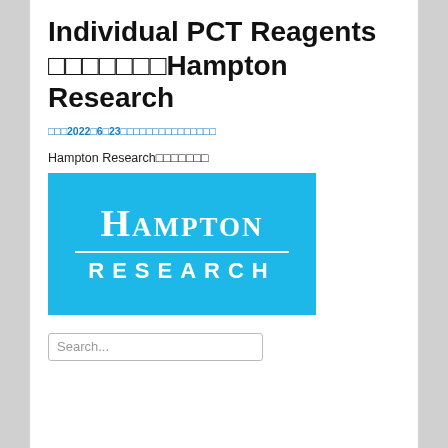Individual PCT Reagents
□□□□□□□Hampton Research
□□□2022□6□23□□□□□□□□□□□□□□□□
Hampton Research□□□□□□□
[Figure (logo): Hampton Research logo: cyan/blue background with white text reading HAMPTON RESEARCH in large letters with a horizontal dividing line]
Search...